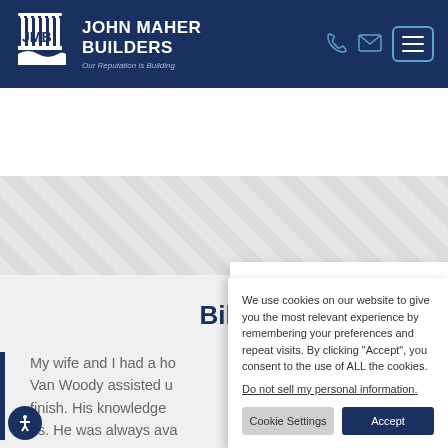[Figure (logo): John Maher Builders logo with JMB icon and text 'Our Reputation is Building']
[Figure (illustration): Diagonal stripe decorative background section in light gray]
Bill
My wife and I had a ho... Van Woody assisted u... finish. His knowledge... us. He was always ava...
We use cookies on our website to give you the most relevant experience by remembering your preferences and repeat visits. By clicking "Accept", you consent to the use of ALL the cookies.
Do not sell my personal information.